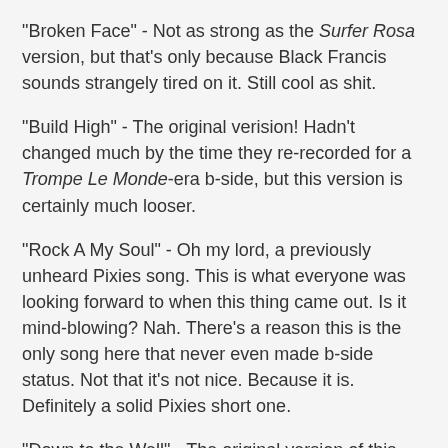"Broken Face" - Not as strong as the Surfer Rosa version, but that's only because Black Francis sounds strangely tired on it. Still cool as shit.
"Build High" - The original verision! Hadn't changed much by the time they re-recorded for a Trompe Le Monde-era b-side, but this version is certainly much looser.
"Rock A My Soul" - Oh my lord, a previously unheard Pixies song. This is what everyone was looking forward to when this thing came out. Is it mind-blowing? Nah. There's a reason this is the only song here that never even made b-side status. Not that it's not nice. Because it is. Definitely a solid Pixies short one.
"Down to the Well" - The original version of this song, that would eventually make its way to Bossanova. The vocal feel is different and it's not as explosive, but I love this one.
"Break My Body" - A little bit different arrangement than the Surfer Rosa version (no intro), but otherwise it's basically the